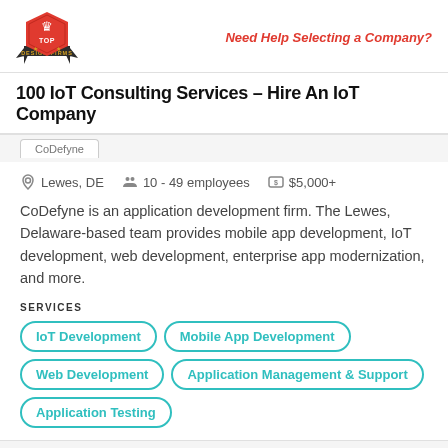Top Design Firms | Need Help Selecting a Company?
100 IoT Consulting Services – Hire An IoT Company
Lewes, DE   10 - 49 employees   $5,000+
CoDefyne is an application development firm. The Lewes, Delaware-based team provides mobile app development, IoT development, web development, enterprise app modernization, and more.
SERVICES
IoT Development
Mobile App Development
Web Development
Application Management & Support
Application Testing